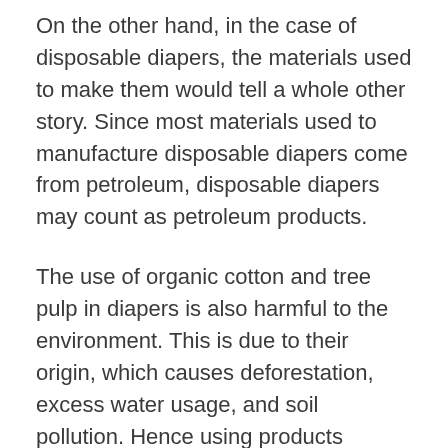On the other hand, in the case of disposable diapers, the materials used to make them would tell a whole other story. Since most materials used to manufacture disposable diapers come from petroleum, disposable diapers may count as petroleum products.
The use of organic cotton and tree pulp in diapers is also harmful to the environment. This is due to their origin, which causes deforestation, excess water usage, and soil pollution. Hence using products containing them would only harm the environment instead of benefiting it in the name of reusability.
Moreover, disposable diapers can also be a little